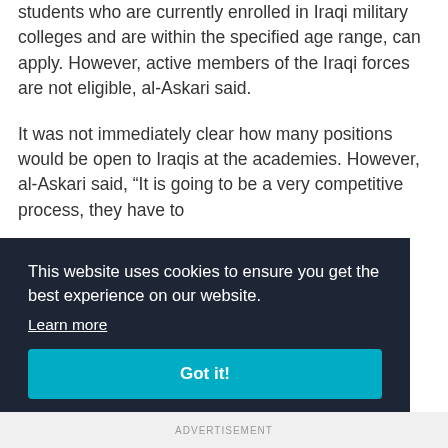students who are currently enrolled in Iraqi military colleges and are within the specified age range, can apply. However, active members of the Iraqi forces are not eligible, al-Askari said.
It was not immediately clear how many positions would be open to Iraqis at the academies. However, al-Askari said, "It is going to be a very competitive process, they have to
This website uses cookies to ensure you get the best experience on our website.
Learn more
Got it!
ADVERTISEMENT